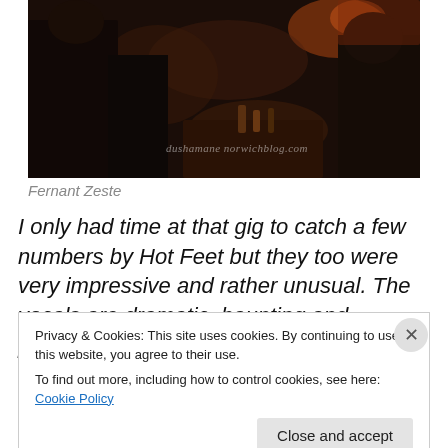[Figure (photo): Dark interior photo of a bar or music venue with people, warm amber lighting, and a watermark reading 'dushamane norwichblog.com']
Fernant Zeste
I only had time at that gig to catch a few numbers by Hot Feet but they too were very impressive and rather unusual. The vocals are dramatic, haunting and powerful
Privacy & Cookies: This site uses cookies. By continuing to use this website, you agree to their use.
To find out more, including how to control cookies, see here: Cookie Policy
Close and accept